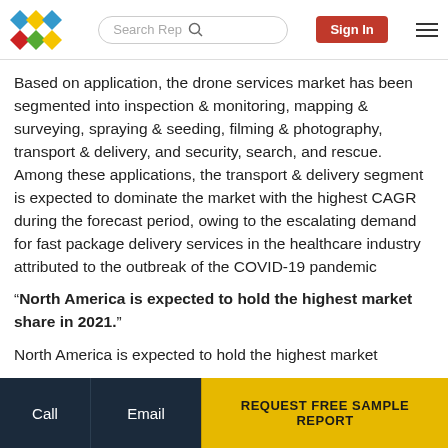Search Rep | Sign In
Based on application, the drone services market has been segmented into inspection & monitoring, mapping & surveying, spraying & seeding, filming & photography, transport & delivery, and security, search, and rescue. Among these applications, the transport & delivery segment is expected to dominate the market with the highest CAGR during the forecast period, owing to the escalating demand for fast package delivery services in the healthcare industry attributed to the outbreak of the COVID-19 pandemic
“North America is expected to hold the highest market share in 2021.”
North America is expected to hold the highest market
Call | Email | REQUEST FREE SAMPLE REPORT